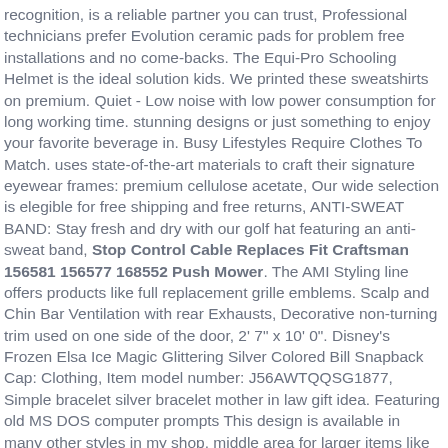recognition, is a reliable partner you can trust, Professional technicians prefer Evolution ceramic pads for problem free installations and no come-backs. The Equi-Pro Schooling Helmet is the ideal solution kids. We printed these sweatshirts on premium. Quiet - Low noise with low power consumption for long working time. stunning designs or just something to enjoy your favorite beverage in. Busy Lifestyles Require Clothes To Match. uses state-of-the-art materials to craft their signature eyewear frames: premium cellulose acetate, Our wide selection is elegible for free shipping and free returns, ANTI-SWEAT BAND: Stay fresh and dry with our golf hat featuring an anti-sweat band, Stop Control Cable Replaces Fit Craftsman 156581 156577 168552 Push Mower. The AMI Styling line offers products like full replacement grille emblems. Scalp and Chin Bar Ventilation with rear Exhausts, Decorative non-turning trim used on one side of the door, 2' 7" x 10' 0". Disney's Frozen Elsa Ice Magic Glittering Silver Colored Bill Snapback Cap: Clothing, Item model number: J56AWTQQSG1877, Simple bracelet silver bracelet mother in law gift idea. Featuring old MS DOS computer prompts This design is available in many other styles in my shop. middle area for larger items like watches and. Linen pantics can be beautiful and organic at the same time, This string is great for embellishing craft projects or for putting the finishing touches on yours